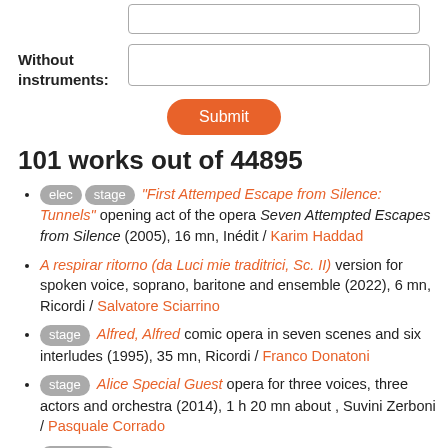Without instruments:
Submit
101 works out of 44895
[elec] [stage] "First Attemped Escape from Silence: Tunnels" opening act of the opera Seven Attempted Escapes from Silence (2005), 16 mn, Inédit / Karim Haddad
A respirar ritorno (da Luci mie traditrici, Sc. II) version for spoken voice, soprano, baritone and ensemble (2022), 6 mn, Ricordi / Salvatore Sciarrino
[stage] Alfred, Alfred comic opera in seven scenes and six interludes (1995), 35 mn, Ricordi / Franco Donatoni
[stage] Alice Special Guest opera for three voices, three actors and orchestra (2014), 1 h 20 mn about , Suvini Zerboni / Pasquale Corrado
[elec ircam] Apocalypsis for voices, sixteen instruments and electronics (2005-2006), 25 mn, Billaudot [program note] /